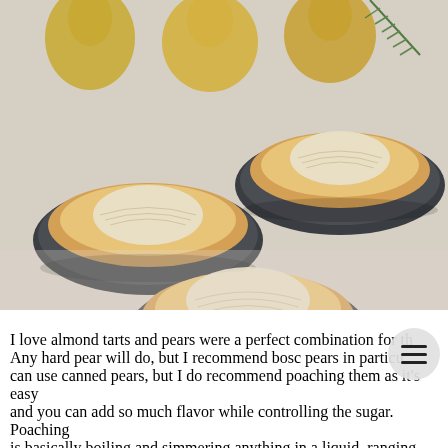[Figure (photo): Three round pear almond tarts in dark fluted tart pans arranged on a light linen surface, with whole pears and a sprig of rosemary visible in the background.]
I love almond tarts and pears were a perfect combination for th... Any hard pear will do, but I recommend bosc pears in particu... can use canned pears, but I do recommend poaching them as it's easy and you can add so much flavor while controlling the sugar. Poaching is basically boiling and simmering anything in a liquid, ranging from